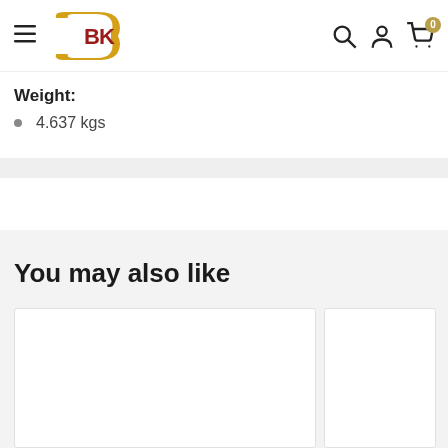CBK navigation header with logo, search, account, and cart icons
Weight:
4.637 kgs
You may also like